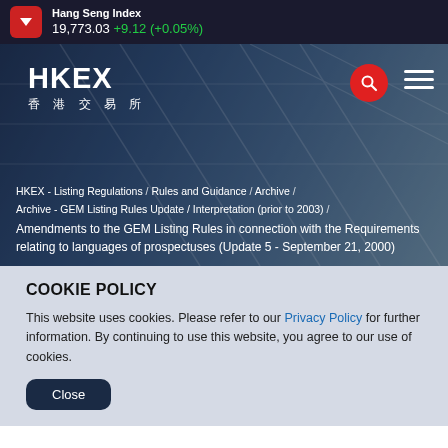Hang Seng Index 19,773.03 +9.12 (+0.05%)
[Figure (logo): HKEX 香港交易所 logo with search and menu icons on a blue gradient hero banner]
HKEX - Listing Regulations / Rules and Guidance / Archive / Archive - GEM Listing Rules Update / Interpretation (prior to 2003) / Amendments to the GEM Listing Rules in connection with the Requirements relating to languages of prospectuses (Update 5 - September 21, 2000)
COOKIE POLICY
This website uses cookies. Please refer to our Privacy Policy for further information. By continuing to use this website, you agree to our use of cookies.
Close